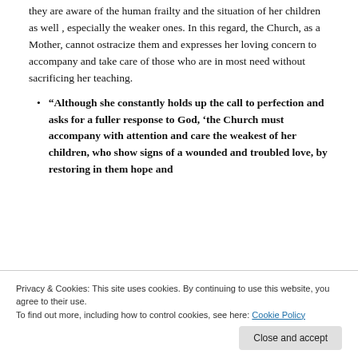they are aware of the human frailty and the situation of her children as well , especially the weaker ones. In this regard, the Church, as a Mother, cannot ostracize them and expresses her loving concern to accompany and take care of those who are in most need without sacrificing her teaching.
“Although she constantly holds up the call to perfection and asks for a fuller response to God, ‘the Church must accompany with attention and care the weakest of her children, who show signs of a wounded and troubled love, by restoring in them hope and
Privacy & Cookies: This site uses cookies. By continuing to use this website, you agree to their use.
To find out more, including how to control cookies, see here: Cookie Policy
field hospital (al 291).